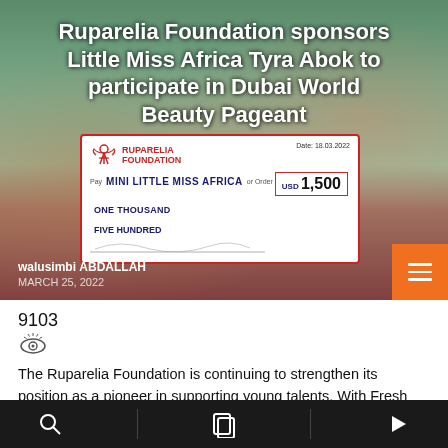[Figure (photo): Two people holding a large ceremonial cheque from Ruparelia Foundation for USD 1,500 to Mini Little Miss Africa, dated 18.03.2022, with a headline overlay reading 'Ruparelia Foundation sponsors Little Miss Africa Tyra Abok to participate in Dubai World Beauty Pageant']
9103
The Ruparelia Foundation is continuing to strengthen its position as a pioneer in supporting young talents. With Fresh Kid and Felister being the most well-known beneficiaries, the foundation has extended financial aid to 11-year-old Tyra Abok, the reigning Mini Little Miss